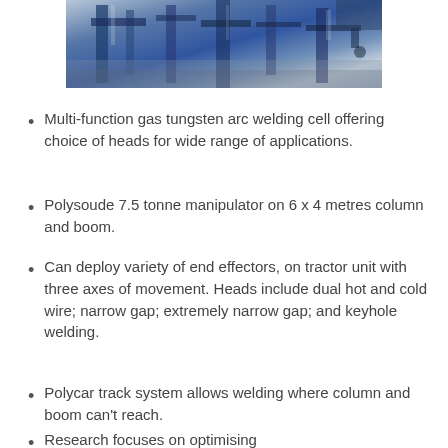[Figure (photo): Industrial welding facility interior showing blue column and boom machinery, robotic welding equipment, and industrial workshop environment.]
Multi-function gas tungsten arc welding cell offering choice of heads for wide range of applications.
Polysoude 7.5 tonne manipulator on 6 x 4 metres column and boom.
Can deploy variety of end effectors, on tractor unit with three axes of movement. Heads include dual hot and cold wire; narrow gap; extremely narrow gap; and keyhole welding.
Polycar track system allows welding where column and boom can't reach.
Research focuses on optimising